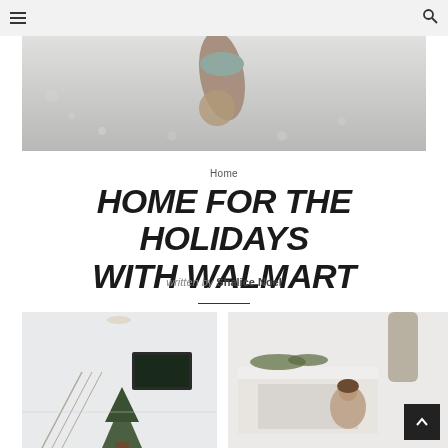≡  🔍
[Figure (photo): Close-up photo of a person's hand and arm wearing a knit glove touching fluffy snow or a white textured surface, viewed from above, black and white tone]
Home
HOME FOR THE HOLIDAYS WITH WALMART
written by Shalice Noel
[Figure (photo): Interior home photo showing a staircase, wall-mounted TV, and a small Christmas tree, bright white interior]
[Figure (photo): Interior home photo showing a fireplace mantle decorated with greenery and a woman standing nearby, bright white kitchen/living area]